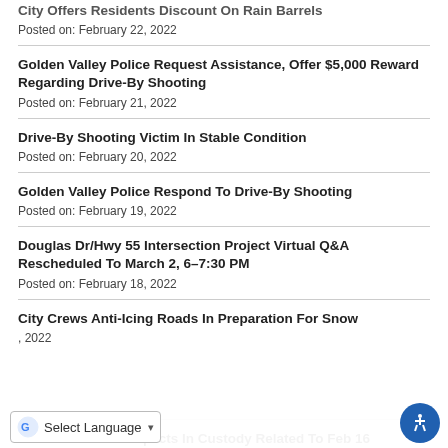City Offers Residents Discount On Rain Barrels
Posted on: February 22, 2022
Golden Valley Police Request Assistance, Offer $5,000 Reward Regarding Drive-By Shooting
Posted on: February 21, 2022
Drive-By Shooting Victim In Stable Condition
Posted on: February 20, 2022
Golden Valley Police Respond To Drive-By Shooting
Posted on: February 19, 2022
Douglas Dr/Hwy 55 Intersection Project Virtual Q&A Rescheduled To March 2, 6–7:30 PM
Posted on: February 18, 2022
City Crews Anti-Icing Roads In Preparation For Snow
Posted on: [partially visible], 2022
GVPD Has Two Suspects In Custody Related To Feb 16 [partially visible]